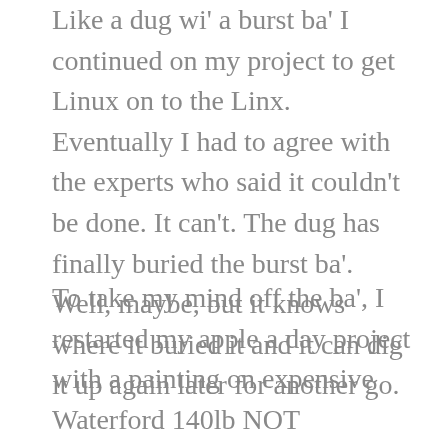Like a dug wi' a burst ba' I continued on my project to get Linux on to the Linx. Eventually I had to agree with the experts who said it couldn't be done. It can't. The dug has finally buried the burst ba'. Well, maybe, but it knows where it buried it and it can dig it up again later for another go.
To take my mind off the ba', I restarted my apple a day project with a painting on expensive Waterford 140lb NOT watercolour paper (NOT stands for Not Hot Pressed, i.e. not perfectly smooth). It was good to paint on paper that doesn't soak up the paint right away and also doesn't rub through at the slightest pressure from the brush. I found the paper in…